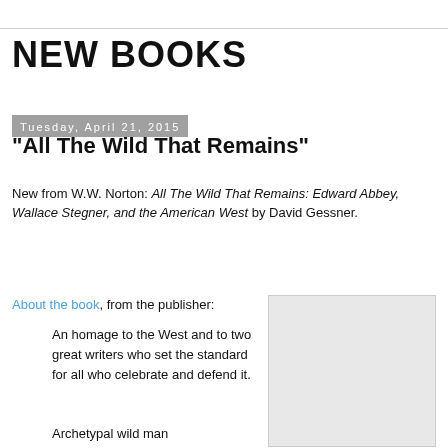NEW BOOKS
Tuesday, April 21, 2015
"All The Wild That Remains"
New from W.W. Norton: All The Wild That Remains: Edward Abbey, Wallace Stegner, and the American West by David Gessner.
About the book, from the publisher:
[Figure (photo): Book cover image placeholder (light gray box)]
An homage to the West and to two great writers who set the standard for all who celebrate and defend it.
Archetypal wild man